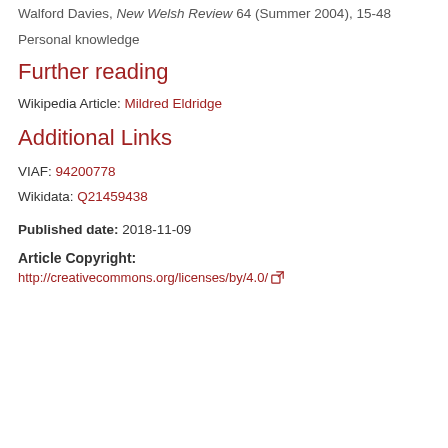Walford Davies, New Welsh Review 64 (Summer 2004), 15-48
Personal knowledge
Further reading
Wikipedia Article: Mildred Eldridge
Additional Links
VIAF: 94200778
Wikidata: Q21459438
Published date: 2018-11-09
Article Copyright: http://creativecommons.org/licenses/by/4.0/